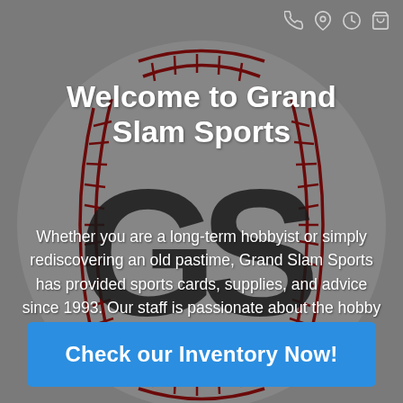[Figure (illustration): Large baseball graphic with dark red stitching pattern on gray background, overlaid with 'GS' monogram logo in dark/black letters]
Welcome to Grand Slam Sports
Whether you are a long-term hobbyist or simply rediscovering an old pastime, Grand Slam Sports has provided sports cards, supplies, and advice since 1993. Our staff is passionate about the hobby and will provide best-in-class service.
Check our Inventory Now!